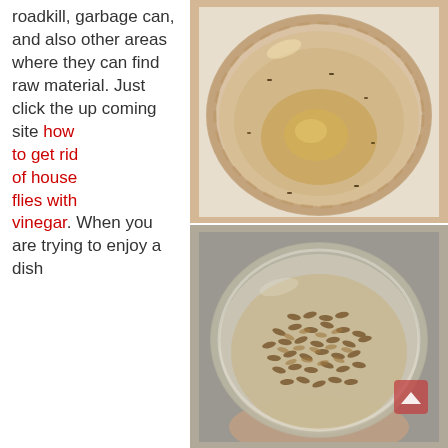roadkill, garbage can, and also other areas where they can find raw material. Just click the up coming site how to get rid of house flies with vinegar. When you are trying to enjoy a dish
[Figure (photo): Top-down view of a clear glass bowl with a small amount of amber liquid, showing a few small flies/insects around the inside rim, placed on a light surface.]
[Figure (photo): Top-down view of a round clear plastic container filled with a large number of maggots/larvae clustered together, held by a hand partially visible at the bottom edge.]